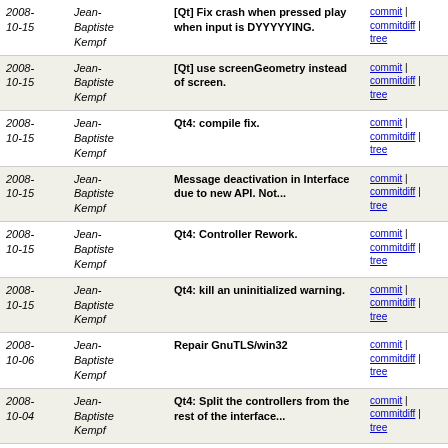| Date | Author | Message | Links |
| --- | --- | --- | --- |
| 2008-10-15 | Jean-Baptiste Kempf | [Qt] Fix crash when pressed play when input is DYYYYYING. | commit | commitdiff | tree |
| 2008-10-15 | Jean-Baptiste Kempf | [Qt] use screenGeometry instead of screen. | commit | commitdiff | tree |
| 2008-10-15 | Jean-Baptiste Kempf | Qt4: compile fix. | commit | commitdiff | tree |
| 2008-10-15 | Jean-Baptiste Kempf | Message deactivation in Interface due to new API. Not... | commit | commitdiff | tree |
| 2008-10-15 | Jean-Baptiste Kempf | Qt4: Controller Rework. | commit | commitdiff | tree |
| 2008-10-15 | Jean-Baptiste Kempf | Qt4: kill an uninitialized warning. | commit | commitdiff | tree |
| 2008-10-06 | Jean-Baptiste Kempf | Repair GnuTLS/win32 | commit | commitdiff | tree |
| 2008-10-04 | Jean-Baptiste Kempf | Qt4: Split the controllers from the rest of the interface... | commit | commitdiff | tree |
| 2008-10-04 | Jean-Baptiste Kempf | Qt4: fix remaining preferences intempestive popups. | commit | commitdiff | tree |
| 2008- | Jean- | Win32 Vout: after the previous | commit |